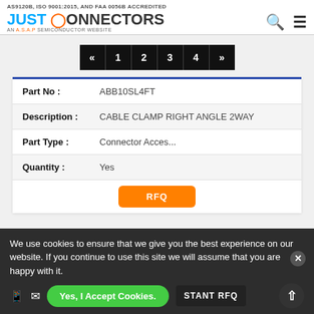AS9120B, ISO 9001:2015, AND FAA 0056B ACCREDITED
[Figure (logo): Just Connectors logo - AN A.S.A.P SEMICONDUCTOR WEBSITE with search and menu icons]
« 1 2 3 4 »
| Part No | ABB10SL4FT |
| --- | --- |
| Description | CABLE CLAMP RIGHT ANGLE 2WAY |
| Part Type | Connector Acces... |
| Quantity | Yes |
RFQ
We use cookies to ensure that we give you the best experience on our website. If you continue to use this site we will assume that you are happy with it.
Yes, I Accept Cookies.
STANT RFQ